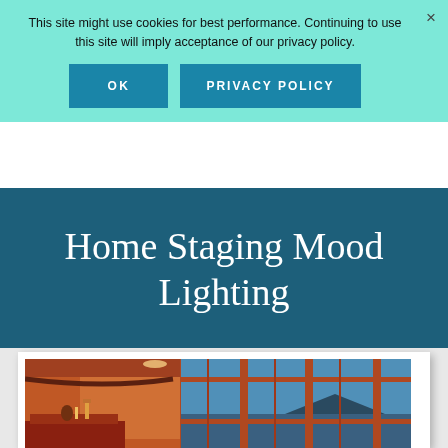This site might use cookies for best performance. Continuing to use this site will imply acceptance of our privacy policy.
[Figure (screenshot): Cookie consent banner with OK and PRIVACY POLICY buttons on teal background, with X close button]
Home Staging Mood Lighting
[Figure (photo): Interior room photo showing a living room with fireplace, warm orange/amber lighting, wooden window frames with multiple panes, and a water/mountain view outside the windows at dusk]